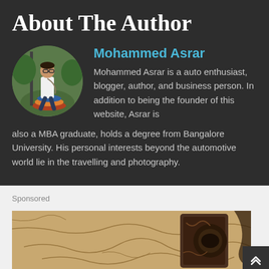About The Author
[Figure (photo): Circular profile photo of Mohammed Asrar, a young man leaning against a pole in an outdoor setting]
Mohammed Asrar
Mohammed Asrar is a auto enthusiast, blogger, author, and business person. In addition to being the founder of this website, Asrar is also a MBA graduate, holds a degree from Bangalore University. His personal interests beyond the automotive world lie in the travelling and photography.
Sponsored
[Figure (photo): Partially visible sepia-toned photograph showing what appears to be a rusty or aged object on cracked earth]